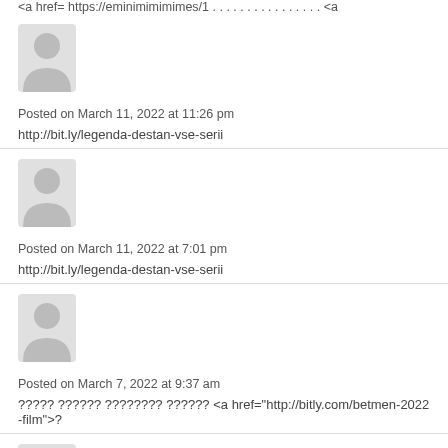<a href= https://eminimimimimes/1 . . . . . . . . . . . . . . . . <a
[Figure (illustration): Generic gray user avatar silhouette]
Posted on March 11, 2022 at 11:26 pm
http://bit.ly/legenda-destan-vse-serii
[Figure (illustration): Generic gray user avatar silhouette]
Posted on March 11, 2022 at 7:01 pm
http://bit.ly/legenda-destan-vse-serii
[Figure (illustration): Generic gray user avatar silhouette]
Posted on March 7, 2022 at 9:37 am
????? ?????? ???????? ?????? <a href="http://bitly.com/betmen-2022-film">?
[Figure (illustration): Generic gray user avatar silhouette (partial, bottom of page)]